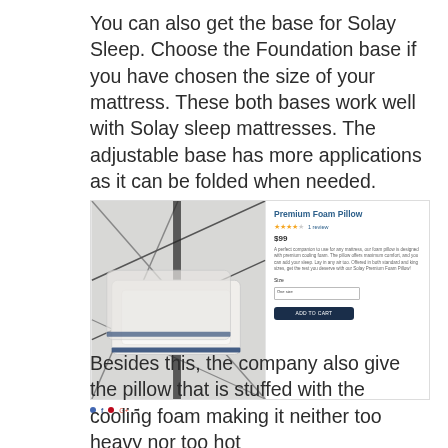You can also get the base for Solay Sleep. Choose the Foundation base if you have chosen the size of your mattress. These both bases work well with Solay sleep mattresses. The adjustable base has more applications as it can be folded when needed.
[Figure (screenshot): Screenshot of a product listing for 'Premium Foam Pillow' priced at $99, showing star rating, product description, size selector, and Add to Cart button, alongside an image of white foam pillows.]
Besides this, the company also give the pillow that is stuffed with the cooling foam making it neither too heavy nor too hot